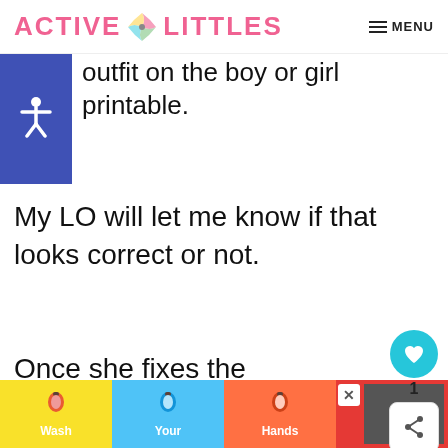ACTIVE LITTLES — MENU
outfit on the boy or girl printable.
My LO will let me know if that looks correct or not.
Once she fixes the costume piece she'll have learned how to problem solve and that is an amazing skill.
[Figure (screenshot): Wash Your Hands Often advertisement banner at the bottom of the page with colorful hand-washing icons on yellow, blue, orange, and red backgrounds]